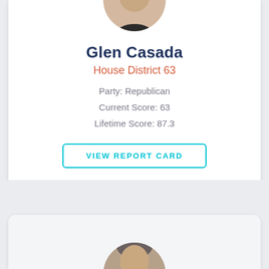[Figure (photo): Circular profile photo of Glen Casada, a middle-aged man, partially cropped at top]
Glen Casada
House District 63
Party: Republican
Current Score: 63
Lifetime Score: 87.3
VIEW REPORT CARD
[Figure (photo): Circular profile photo of another legislator, partially visible at bottom of page]